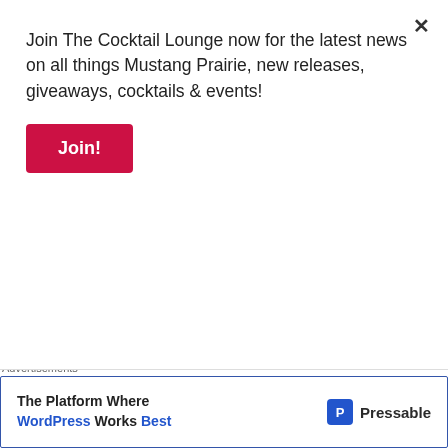Join The Cocktail Lounge now for the latest news on all things Mustang Prairie, new releases, giveaways, cocktails & events!
Join!
the Dark One's very reign.
Isabella Wen has spent the last decade in the human world hiding from the one that turned her touch deadly, made her body a weapon for his own gain. Sebastian Reaper—bearer of the sin of sloth and the eldest son of the revered Grim Reaper—has spent his entire life fighting to stay awake because of his curse.
Advertisements
[Figure (screenshot): Pressable advertisement banner: 'The Platform Where WordPress Works Best' with Pressable logo on the right.]